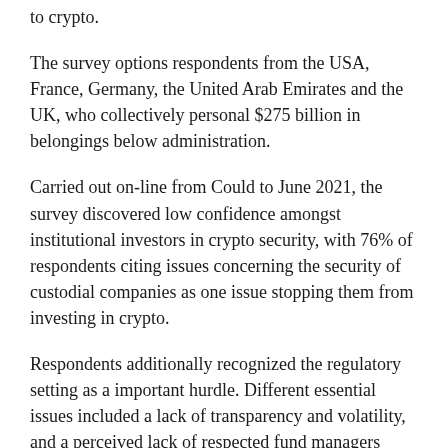to crypto.
The survey options respondents from the USA, France, Germany, the United Arab Emirates and the UK, who collectively personal $275 billion in belongings below administration.
Carried out on-line from Could to June 2021, the survey discovered low confidence amongst institutional investors in crypto security, with 76% of respondents citing issues concerning the security of custodial companies as one issue stopping them from investing in crypto.
Respondents additionally recognized the regulatory setting as a important hurdle. Different essential issues included a lack of transparency and volatility, and a perceived lack of respected fund managers providing crypto funding.